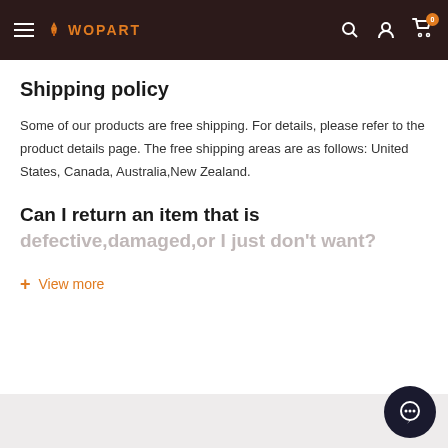WOPART
Shipping policy
Some of our products are free shipping. For details, please refer to the product details page. The free shipping areas are as follows: United States, Canada, Australia,New Zealand.
Can I return an item that is defective,damaged,or I just don't want?
+ View more